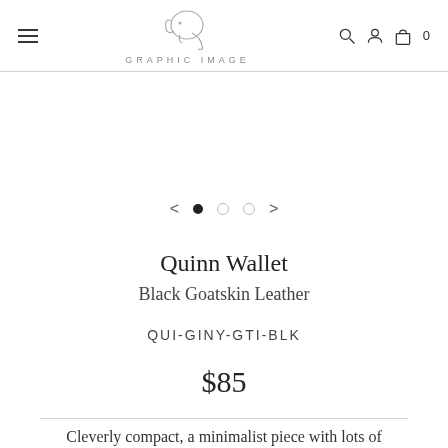Graphic Image — navigation header with hamburger menu, logo, search, account, and cart icons
[Figure (illustration): Carousel navigation with left arrow, three pagination dots (first filled), and right arrow]
Quinn Wallet
Black Goatskin Leather
QUI-GINY-GTI-BLK
$85
Cleverly compact, a minimalist piece with lots of